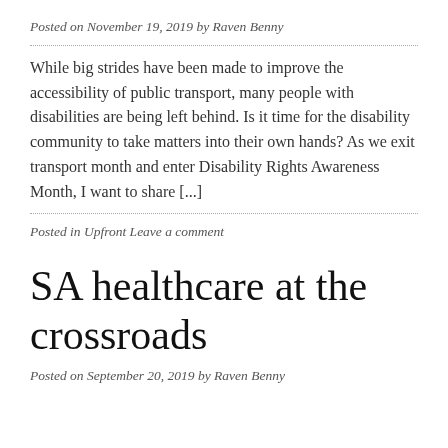Posted on November 19, 2019 by Raven Benny
While big strides have been made to improve the accessibility of public transport, many people with disabilities are being left behind. Is it time for the disability community to take matters into their own hands? As we exit transport month and enter Disability Rights Awareness Month, I want to share [...]
Posted in Upfront Leave a comment
SA healthcare at the crossroads
Posted on September 20, 2019 by Raven Benny